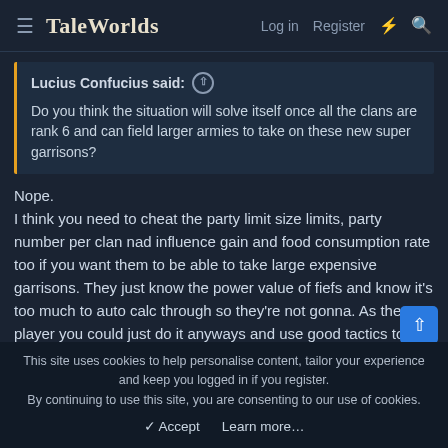≡ TaleWorlds  Log in  Register  ⚡  🔍
Lucius Confucius said: ↑
Do you think the situation will solve itself once all the clans are rank 6 and can field larger armies to take on these new super garrisons?
Nope.
I think you need to cheat the party limit size limits, party number per clan nad influence gain and food consumption rate too if you want them to be able to take large expensive garrisons. They just know the power value of fiefs and know it's too much to auto calc through so they're not gonna. As the player you could just do it anyways and use good tactics to wear down the garrison, even starve it and destroy fortifications, but that's not something the AI will do.
Even then because TW didn't set it up that may, I'd be
This site uses cookies to help personalise content, tailor your experience and keep you logged in if you register.
By continuing to use this site, you are consenting to our use of cookies.
✓ Accept   Learn more…